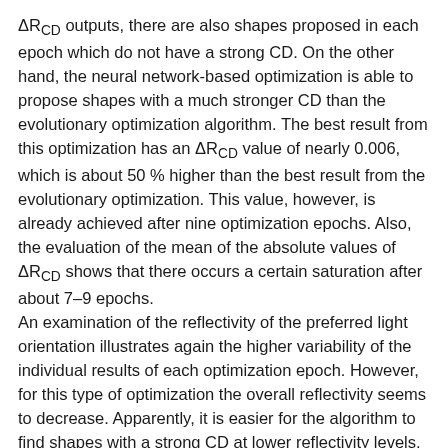ΔR_CD outputs, there are also shapes proposed in each epoch which do not have a strong CD. On the other hand, the neural network-based optimization is able to propose shapes with a much stronger CD than the evolutionary optimization algorithm. The best result from this optimization has an ΔR_CD value of nearly 0.006, which is about 50 % higher than the best result from the evolutionary optimization. This value, however, is already achieved after nine optimization epochs. Also, the evaluation of the mean of the absolute values of ΔR_CD shows that there occurs a certain saturation after about 7–9 epochs.
An examination of the reflectivity of the preferred light orientation illustrates again the higher variability of the individual results of each optimization epoch. However, for this type of optimization the overall reflectivity seems to decrease. Apparently, it is easier for the algorithm to find shapes with a strong CD at lower reflectivity levels, or in other terms, obtaining a stronger dichroism seems to be linked to a reduction in reflectivity for the tailored interface, as is also later shown in spectra corresponding to the resulting optimized shape.